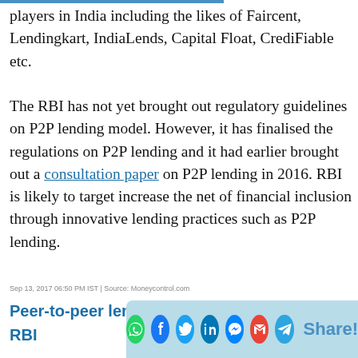players in India including the likes of Faircent, Lendingkart, IndiaLends, Capital Float, CrediFiable etc.
The RBI has not yet brought out regulatory guidelines on P2P lending model. However, it has finalised the regulations on P2P lending and it had earlier brought out a consultation paper on P2P lending in 2016. RBI is likely to target increase the net of financial inclusion through innovative lending practices such as P2P lending.
Sep 13, 2017 06:50 PM IST | Source: Moneycontrol.com
Peer-to-peer lending RBI